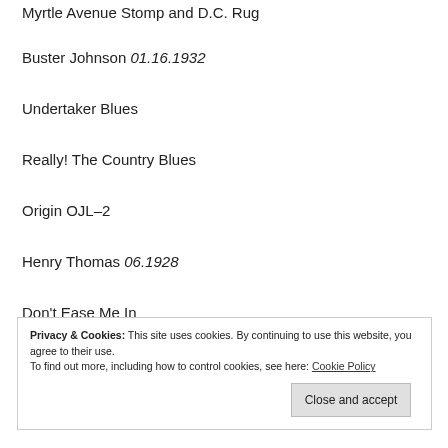Myrtle Avenue Stomp and D.C. Rug
Buster Johnson 01.16.1932
Undertaker Blues
Really! The Country Blues
Origin OJL-2
Henry Thomas 06.1928
Don't Ease Me In
Privacy & Cookies: This site uses cookies. By continuing to use this website, you agree to their use.
To find out more, including how to control cookies, see here: Cookie Policy
Close and accept